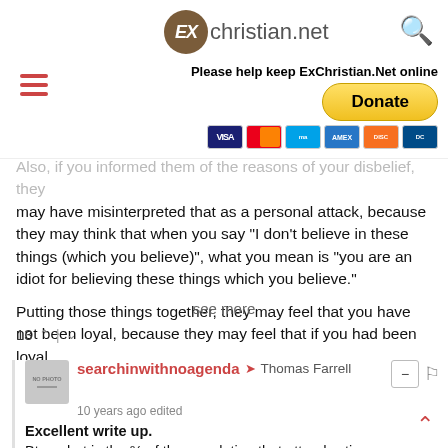ExChristian.net — Please help keep ExChristian.Net online — Donate
Also, if you informed them of the reasons of your disbelief, they may have misinterpreted that as a personal attack, because they may think that when you say "I don't believe in these things (which you believe)", what you mean is "you are an idiot for believing these things which you believe."
Putting those things together, they may feel that you have not been loyal, because they may feel that if you had been loyal...
see more
13 ∧ | ∨
searchinwithnoagenda → Thomas Farrell
10 years ago edited

Excellent write up.

Btw, what is the % of the population that attends xtion...